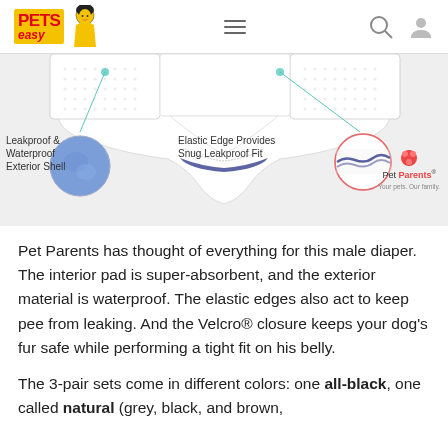Pets Easy — navigation bar with logo, hamburger menu, search, and user icons
[Figure (photo): Product photo of a white male dog diaper/wrap showing the fabric construction, with callout labels: 'Leakproof & Waterproof Exterior Shell' pointing to a blue circular fabric swatch, 'Elastic Edge Provides Snug Leakproof Fit' pointing to a circular inset showing the elastic edge detail, and the Pet Parents logo with tagline 'Your pets. Our family.']
Pet Parents has thought of everything for this male diaper. The interior pad is super-absorbent, and the exterior material is waterproof. The elastic edges also act to keep pee from leaking. And the Velcro® closure keeps your dog's fur safe while performing a tight fit on his belly.
The 3-pair sets come in different colors: one all-black, one called natural (grey, black, and brown,